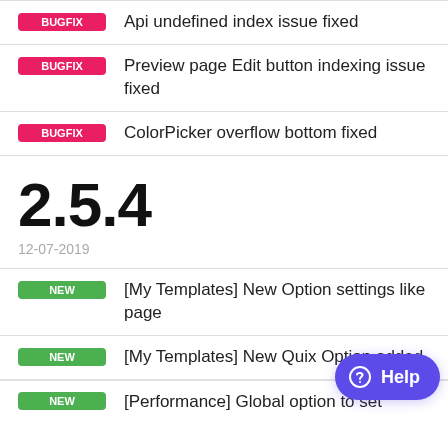BUGFIX  Api undefined index issue fixed
BUGFIX  Preview page Edit button indexing issue fixed
BUGFIX  ColorPicker overflow bottom fixed
2.5.4
12-07-2019
NEW  [My Templates] New Option settings like page
NEW  [My Templates] New Quix Option added
NEW  [Performance] Global option to set